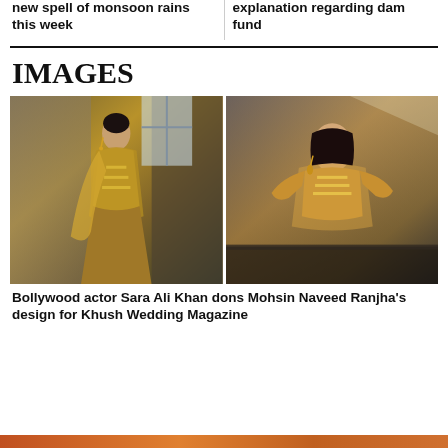new spell of monsoon rains this week
explanation regarding dam fund
IMAGES
[Figure (photo): Two fashion photos of Bollywood actor Sara Ali Khan wearing a golden yellow embroidered traditional outfit designed by Mohsin Naveed Ranjha, shot against textured walls in an editorial style for Khush Wedding Magazine]
Bollywood actor Sara Ali Khan dons Mohsin Naveed Ranjha's design for Khush Wedding Magazine